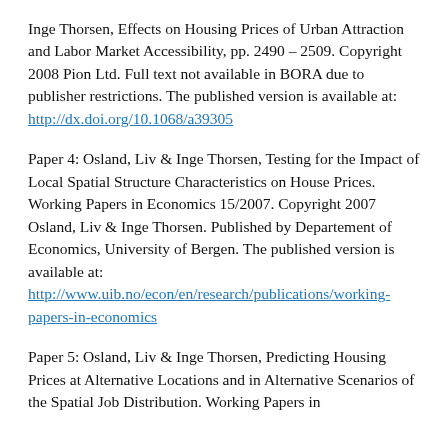Inge Thorsen, Effects on Housing Prices of Urban Attraction and Labor Market Accessibility, pp. 2490 – 2509. Copyright 2008 Pion Ltd. Full text not available in BORA due to publisher restrictions. The published version is available at: http://dx.doi.org/10.1068/a39305
Paper 4: Osland, Liv & Inge Thorsen, Testing for the Impact of Local Spatial Structure Characteristics on House Prices. Working Papers in Economics 15/2007. Copyright 2007 Osland, Liv & Inge Thorsen. Published by Departement of Economics, University of Bergen. The published version is available at: http://www.uib.no/econ/en/research/publications/working-papers-in-economics
Paper 5: Osland, Liv & Inge Thorsen, Predicting Housing Prices at Alternative Locations and in Alternative Scenarios of the Spatial Job Distribution. Working Papers in Economics 16/2007. Copyright 2007 Osland, Liv & Inge Thorsen.